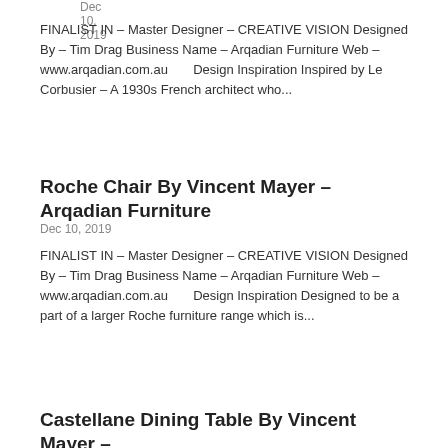Dec 10, 2019
FINALIST IN – Master Designer – CREATIVE VISION Designed By – Tim Drag Business Name – Arqadian Furniture Web – www.arqadian.com.au       Design Inspiration Inspired by Le Corbusier – A 1930s French architect who...
Roche Chair By Vincent Mayer – Arqadian Furniture
Dec 10, 2019
FINALIST IN – Master Designer – CREATIVE VISION Designed By – Tim Drag Business Name – Arqadian Furniture Web – www.arqadian.com.au       Design Inspiration Designed to be a part of a larger Roche furniture range which is...
Castellane Dining Table By Vincent Mayer –